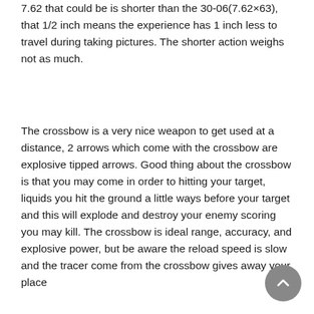7.62 that could be is shorter than the 30-06(7.62×63), that 1/2 inch means the experience has 1 inch less to travel during taking pictures. The shorter action weighs not as much.
The crossbow is a very nice weapon to get used at a distance, 2 arrows which come with the crossbow are explosive tipped arrows. Good thing about the crossbow is that you may come in order to hitting your target, liquids you hit the ground a little ways before your target and this will explode and destroy your enemy scoring you may kill. The crossbow is ideal range, accuracy, and explosive power, but be aware the reload speed is slow and the tracer come from the crossbow gives away your place